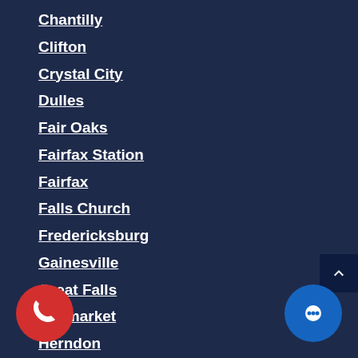Chantilly
Clifton
Crystal City
Dulles
Fair Oaks
Fairfax Station
Fairfax
Falls Church
Fredericksburg
Gainesville
Great Falls
Haymarket
Herndon
Lake Ridge
Lansdowne
Leesburg